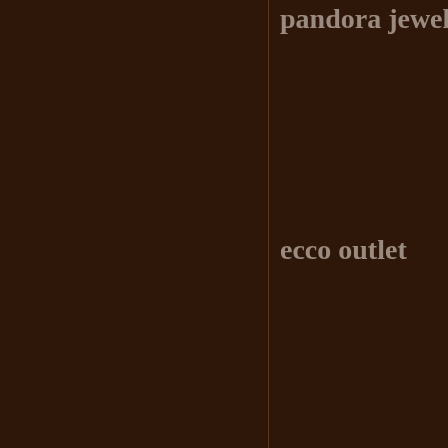pandora jewel
ecco outlet
philipp plein ou
adidas
christian loubo